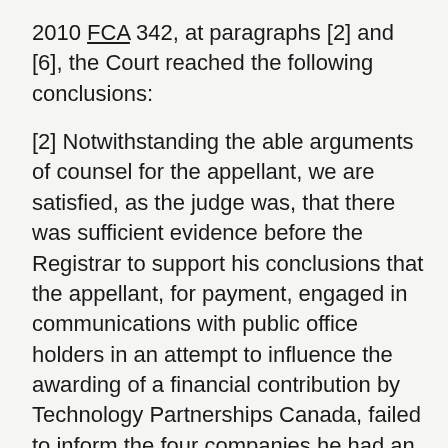2010 FCA 342, at paragraphs [2] and [6], the Court reached the following conclusions:
[2] Notwithstanding the able arguments of counsel for the appellant, we are satisfied, as the judge was, that there was sufficient evidence before the Registrar to support his conclusions that the appellant, for payment, engaged in communications with public office holders in an attempt to influence the awarding of a financial contribution by Technology Partnerships Canada, failed to inform the four companies he had an agreement with of his obligations under the Act and the Code, and signed with Infowave statements that he did not engage in lobbying, knowing that these statements would be relied on.